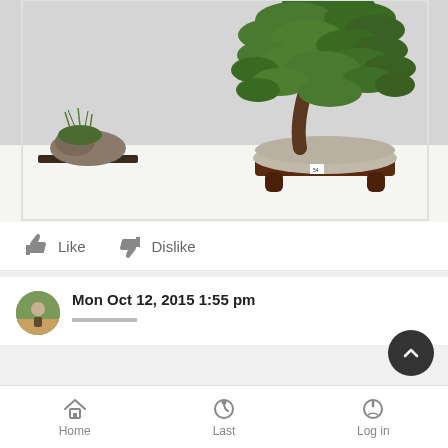[Figure (photo): A bonsai tree displayed on a wooden stand with a small accent plant on a mat beside it, photographed against a light gray background at what appears to be a bonsai exhibition.]
Like   Dislike
Mon Oct 12, 2015 1:55 pm
Home   Last   Log in